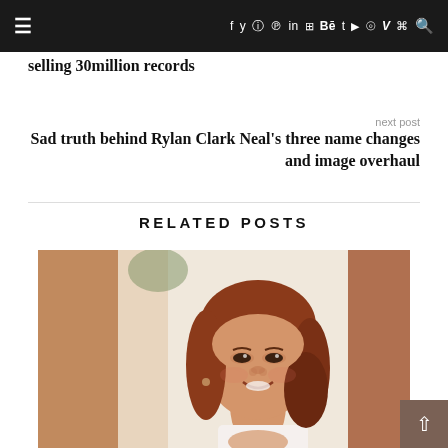☰  f  tw  IG  P  in  flickr  Bē  t  yt  snap  V  rss  🔍
selling 30million records
next post
Sad truth behind Rylan Clark Neal's three name changes and image overhaul
RELATED POSTS
[Figure (photo): Close-up photo of a young woman with auburn/red hair smiling, wearing a white top, selfie-style with blurred background]